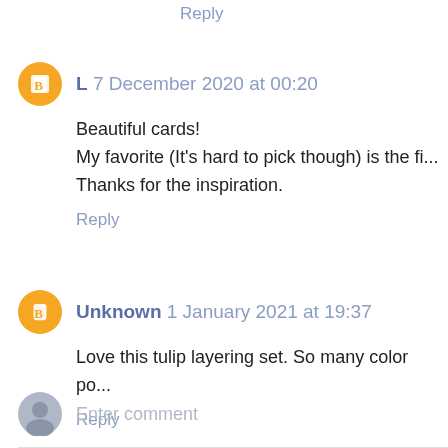Reply
L 7 December 2020 at 00:20
Beautiful cards!
My favorite (It's hard to pick though) is the fi...
Thanks for the inspiration.
Reply
Unknown 1 January 2021 at 19:37
Love this tulip layering set. So many color po...
Reply
Enter comment